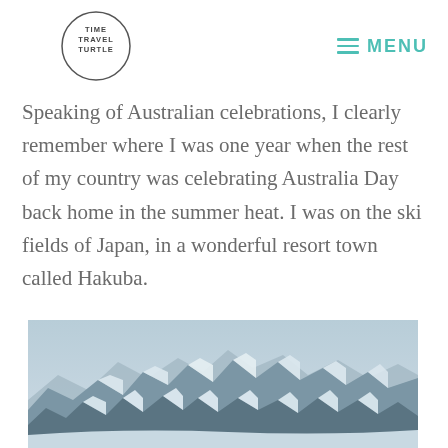TIME TRAVEL TURTLE | MENU
Speaking of Australian celebrations, I clearly remember where I was one year when the rest of my country was celebrating Australia Day back home in the summer heat. I was on the ski fields of Japan, in a wonderful resort town called Hakuba.
[Figure (photo): Snow-capped mountain range with jagged peaks under a pale blue-grey sky, likely the Japanese Alps near Hakuba.]